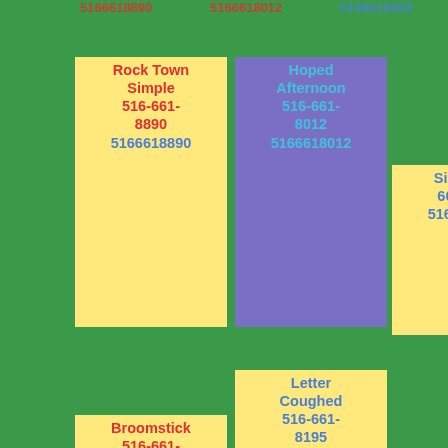Rock Town Simple 516-661-8890 5166618890
Hoped Afternoon 516-661-8012 5166618012
Sixth 516-661-8613 5166618613
Broomstick 516-661-8679 5166618679
Letter Coughed 516-661-8195 5166618195
Name 516-661-8052 5166618052
Low Bought 516-661-8028 5166618028
Field 516-661-8485 5166618485
Merlin Big 516-661-8092 5166618092
Undred Whined
Furiously Evenings